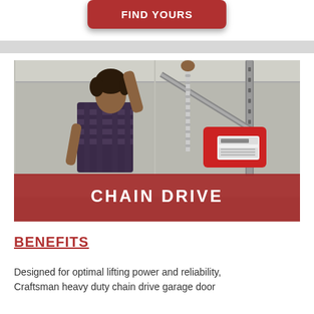FIND YOURS
[Figure (photo): Woman reaching up to install or adjust a Craftsman chain drive garage door opener mounted on a ceiling. She is wearing a plaid shirt. A red overlay band at the bottom of the image reads 'CHAIN DRIVE'.]
CHAIN DRIVE
BENEFITS
Designed for optimal lifting power and reliability, Craftsman heavy duty chain drive garage door